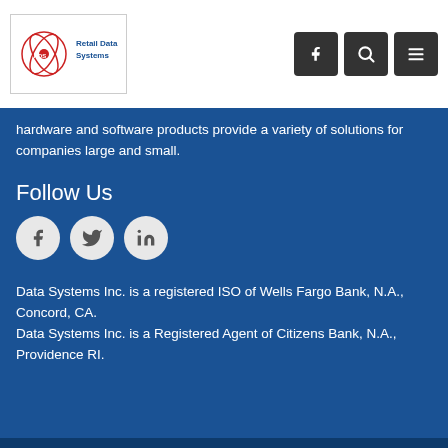[Figure (logo): RDS Retail Data Systems logo with circular atom/globe graphic in red/blue and company name in blue text]
hardware and software products provide a variety of solutions for companies large and small.
Follow Us
[Figure (infographic): Three circular social media icons: Facebook (f), Twitter (bird), LinkedIn (in)]
Data Systems Inc. is a registered ISO of Wells Fargo Bank, N.A., Concord, CA.
Data Systems Inc. is a Registered Agent of Citizens Bank, N.A., Providence RI.